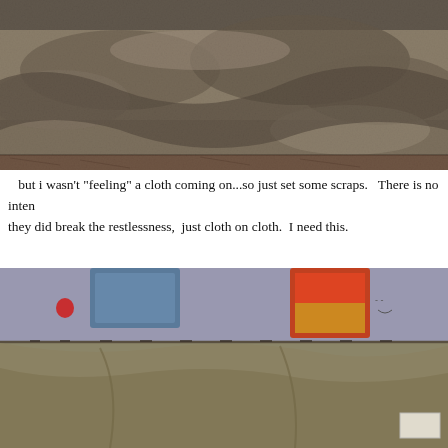[Figure (photo): Close-up photograph of crumpled, worn fabric in grayish-brown tones with textured, frayed edges and various folds.]
but i wasn't "feeling" a cloth coming on...so just set some scraps.   There is no inten they did break the restlessness,  just cloth on cloth.  I need this.
[Figure (photo): Close-up photograph of fabric scraps arranged on a surface, including blue denim, red, orange/yellow and brown textured pieces on a gray/lavender background, with a larger khaki/olive colored cloth below.]